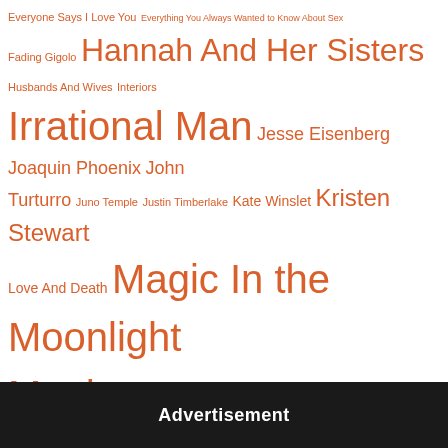[Figure (other): Tag cloud of Woody Allen related films, actors, and studios in varying font sizes, all in orange/reddish color on white background. Tags include: Everyone Says I Love You, Everything You Always Wanted to Know About Sex, Fading Gigolo, Hannah And Her Sisters, Husbands And Wives, Interiors, Irrational Man, Jesse Eisenberg, Joaquin Phoenix, John Turturro, Juno Temple, Justin Timberlake, Kate Winslet, Kristen Stewart, Love And Death, Magic In the Moonlight, Manhattan, Manhattan Murder Mystery, Match Point, Melinda and Melinda, Mia Farrow, Midnight In Paris, Mighty Aphrodite, Parker Posey, Radio Days, Sally Hawkins, Scoop, September, Shadows And Fog, Sleeper, Sony Pictures Classics, Stardust Memories, Sweet And Lowdown, Take the Money And Run, The Purple Rose Of Cairo, To Rome With Love, Vicky Cristina Barcelona, Vittorio Storaro, Whatever Works, Wonder Wheel, You Will Meet A Tall Dark Stranger, Zach Braff, Zelig]
Advertisement